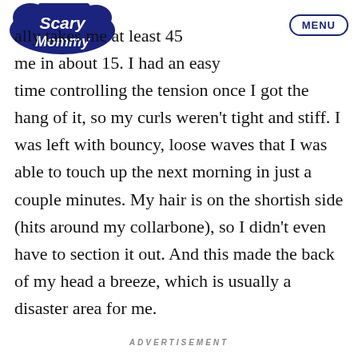[Figure (logo): Scary Mommy logo — dark navy blue bubble-style text logo]
MENU
ally takes me at least 45 me in about 15. I had an easy time controlling the tension once I got the hang of it, so my curls weren't tight and stiff. I was left with bouncy, loose waves that I was able to touch up the next morning in just a couple minutes. My hair is on the shortish side (hits around my collarbone), so I didn't even have to section it out. And this made the back of my head a breeze, which is usually a disaster area for me.
ADVERTISEMENT